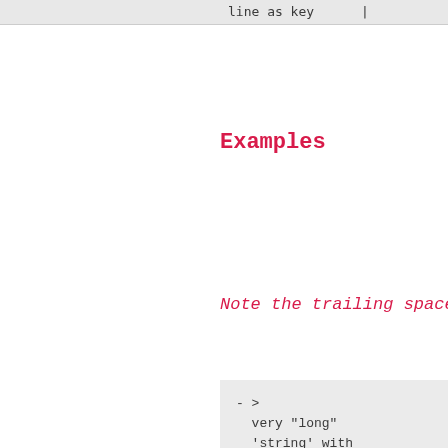| line as key | | |
Examples
Note the trailing spaces on the li
- >
  very "long"
  'string' with

  paragraph gap, \n and
  spaces.
- |
  very "long"
  'string' with

  paragraph gap, \n and